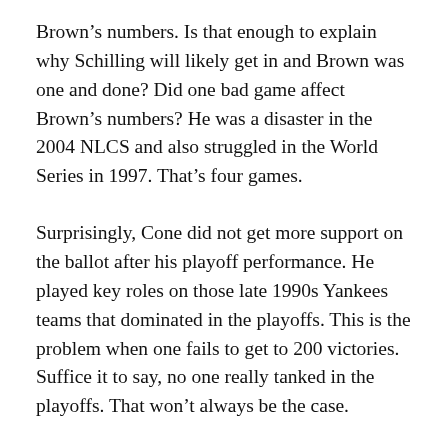Brown's numbers. Is that enough to explain why Schilling will likely get in and Brown was one and done? Did one bad game affect Brown's numbers? He was a disaster in the 2004 NLCS and also struggled in the World Series in 1997. That's four games.
Surprisingly, Cone did not get more support on the ballot after his playoff performance. He played key roles on those late 1990s Yankees teams that dominated in the playoffs. This is the problem when one fails to get to 200 victories. Suffice it to say, no one really tanked in the playoffs. That won't always be the case.
Cy Young Points